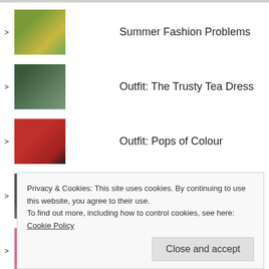Summer Fashion Problems
Outfit: The Trusty Tea Dress
Outfit: Pops of Colour
My 2017 Style Journey
Outfit: All The Flowers
Reasons to be Cheerful: New Hair
Privacy & Cookies: This site uses cookies. By continuing to use this website, you agree to their use. To find out more, including how to control cookies, see here: Cookie Policy
Close and accept